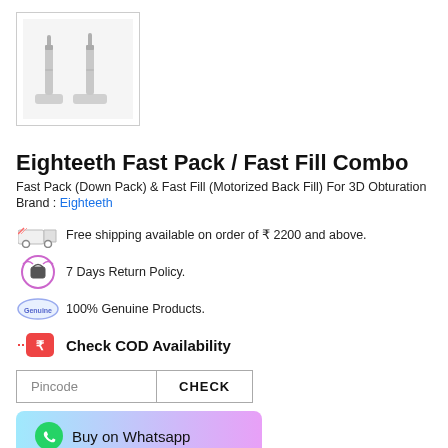[Figure (photo): Product photo of two dental obturation devices (Eighteeth Fast Pack and Fast Fill) in white holders, shown in a bordered thumbnail box.]
Eighteeth Fast Pack / Fast Fill Combo
Fast Pack (Down Pack) & Fast Fill (Motorized Back Fill) For 3D Obturation
Brand : Eighteeth
Free shipping available on order of ₹ 2200 and above.
7 Days Return Policy.
100% Genuine Products.
Check COD Availability
Pincode  CHECK
Buy on Whatsapp
Free Material Worth Rs. 4,500 ( Neoendo Flex Rotary File 1 pack , Neoendo Flex Glide Rotary File 1 pack , Fast Fill Tip 1 pack ) Kindly Mention the